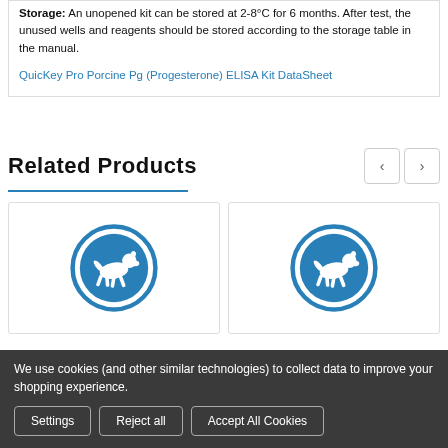Storage: An unopened kit can be stored at 2-8°C for 6 months. After test, the unused wells and reagents should be stored according to the storage table in the manual.
QuicKey Pro Porcine Pg (Progesterone) ELISA Kit DataSheet
Related Products
[Figure (logo): Blue circular logo with animal figure (running deer/dog) on white background - product card 1]
[Figure (logo): Blue circular logo with animal figure (running deer/dog) on white background - product card 2]
We use cookies (and other similar technologies) to collect data to improve your shopping experience.